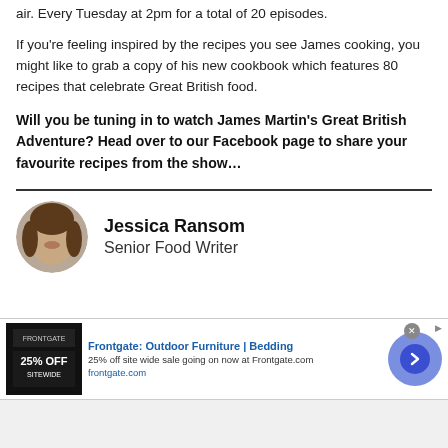air. Every Tuesday at 2pm for a total of 20 episodes.
If you’re feeling inspired by the recipes you see James cooking, you might like to grab a copy of his new cookbook which features 80 recipes that celebrate Great British food.
Will you be tuning in to watch James Martin’s Great British Adventure? Head over to our Facebook page to share your favourite recipes from the show…
[Figure (photo): Circular author photo of Jessica Ransom]
Jessica Ransom
Senior Food Writer
[Figure (other): Advertisement banner: Frontgate: Outdoor Furniture | Bedding. 25% off site wide sale going on now at Frontgate.com. frontgate.com]